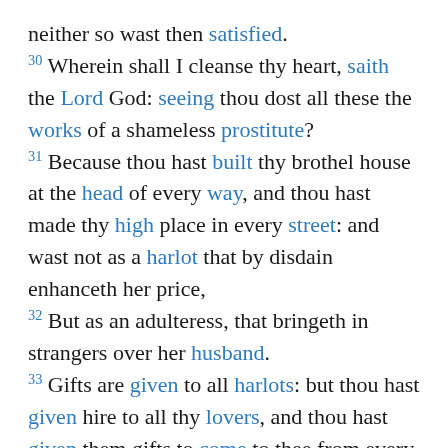neither so wast then satisfied. 30 Wherein shall I cleanse thy heart, saith the Lord God: seeing thou dost all these the works of a shameless prostitute? 31 Because thou hast built thy brothel house at the head of every way, and thou hast made thy high place in every street: and wast not as a harlot that by disdain enhanceth her price, 32 But as an adulteress, that bringeth in strangers over her husband. 33 Gifts are given to all harlots: but thou hast given hire to all thy lovers, and thou hast given them gifts to come to thee from every side, to commit fornication with thee.